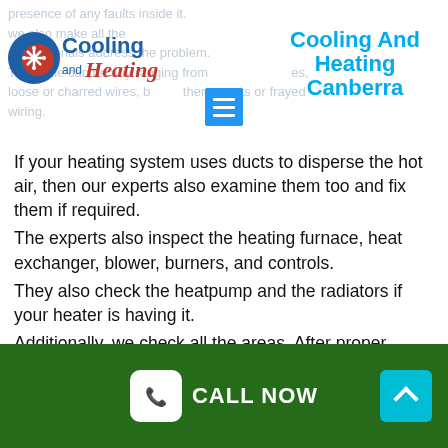[Figure (logo): Cooling and Heating logo with snowflake and sun icon]
Cooling And Heating Canberra
presence of any faults inside it. We also make all the professionals address the problem. The issue can be any ranging from loose or charred wires, broken thermostats or frayed wiring.
If your heating system uses ducts to disperse the hot air, then our experts also examine them too and fix them if required.
The experts also inspect the heating furnace, heat exchanger, blower, burners, and controls.
They also check the heatpump and the radiators if your heater is having it.
Additionally, we check all the areas. After proper inspection, if the parts require fixing, then they are
CALL NOW